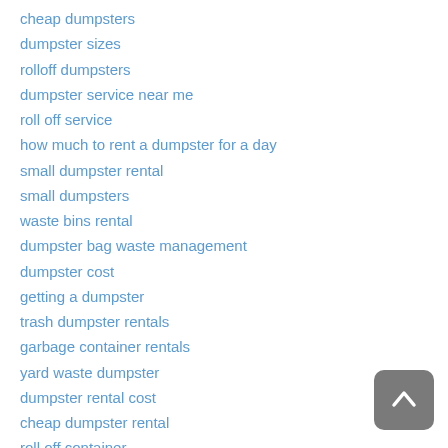cheap dumpsters
dumpster sizes
rolloff dumpsters
dumpster service near me
roll off service
how much to rent a dumpster for a day
small dumpster rental
small dumpsters
waste bins rental
dumpster bag waste management
dumpster cost
getting a dumpster
trash dumpster rentals
garbage container rentals
yard waste dumpster
dumpster rental cost
cheap dumpster rental
roll off container
cheap dumpster